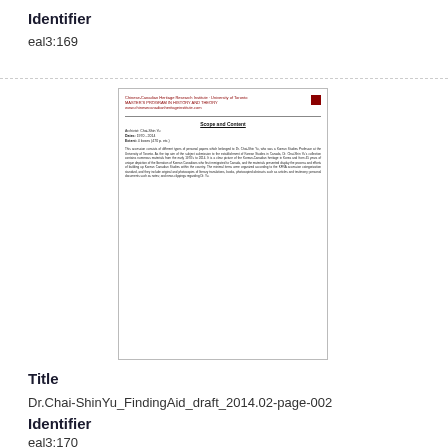Identifier
eal3:169
[Figure (other): Thumbnail of document page: Dr.Chai-ShinYu_FindingAid_draft_2014.02-page-002, showing a document with header, title 'Scope and Content', metadata fields, and body text.]
Title
Dr.Chai-ShinYu_FindingAid_draft_2014.02-page-002
Identifier
eal3:170